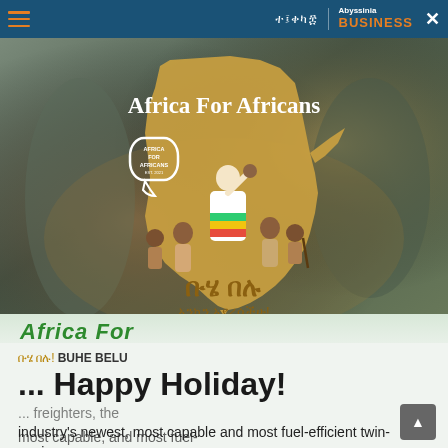Abyssinia BUSINESS
[Figure (illustration): Africa For Africans promotional image: golden Africa map silhouette on muted mural background, with 'Africa For Africans' title, logo, cartoon Ethiopian figures in traditional dress, and Ethiopic text 'ቡሄ በሉ አንኳን አደረሳችሁ!']
Africa For
ቡሄ በሉ! BUHE BELU
... Happy Holiday!
... freighters, the industry's newest, most capable and most fuel-efficient twin-engine freighter.